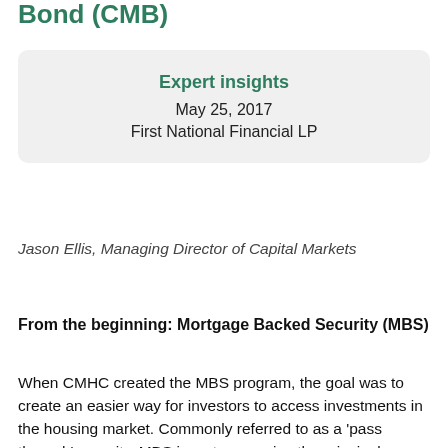Bond (CMB)
Expert insights
May 25, 2017
First National Financial LP
Jason Ellis, Managing Director of Capital Markets
From the beginning: Mortgage Backed Security (MBS)
When CMHC created the MBS program, the goal was to create an easier way for investors to access investments in the housing market. Commonly referred to as a ‘pass through’ security, MBS investors receive the principal collected on the underlying insured mortgages